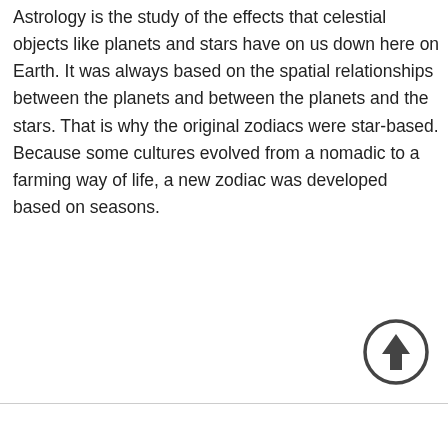Astrology is the study of the effects that celestial objects like planets and stars have on us down here on Earth. It was always based on the spatial relationships between the planets and between the planets and the stars. That is why the original zodiacs were star-based. Because some cultures evolved from a nomadic to a farming way of life, a new zodiac was developed based on seasons.
[Figure (other): A circular scroll-to-top button with an upward-pointing arrow, dark gray outlined circle with filled arrow icon]